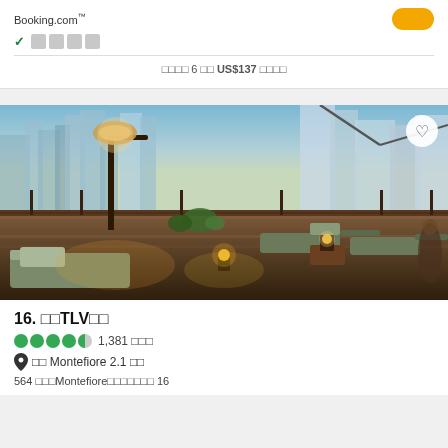Booking.com
□□□□
□□□□ 6 □□ US$137 □□□□
[Figure (photo): Rooftop terrace of a hotel in Tel Aviv with lounge chairs, candle lanterns, plants, and city skyline in the background at dusk]
16. □□TLV□□
1,381 □□□
□□ Montefiore 2.1 □□
564 □□□Montefiore□□□□□□□ 16